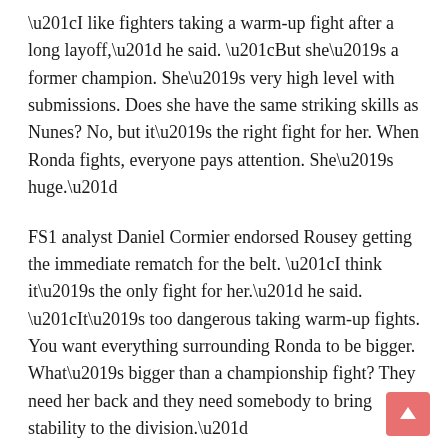“I like fighters taking a warm-up fight after a long layoff,” he said. “But she’s a former champion. She’s very high level with submissions. Does she have the same striking skills as Nunes? No, but it’s the right fight for her. When Ronda fights, everyone pays attention. She’s huge.”
FS1 analyst Daniel Cormier endorsed Rousey getting the immediate rematch for the belt. “I think it’s the only fight for her.” he said. “It’s too dangerous taking warm-up fights. You want everything surrounding Ronda to be bigger. What’s bigger than a championship fight? They need her back and they need somebody to bring stability to the division.”
If she regains her title, White said he isn’t sure what’s next for her, but an eventual Cris Cyborg match-up is on the radar of anyone contemplating Rousey’s future. “I said she would fight Cyborg,” he said. “First, Ronda’s got to win. Then, I don’t know what she’d going to want to do. She’s told me she wants to fight Cyborg. As long as I’ve known her, she’s always wanted to